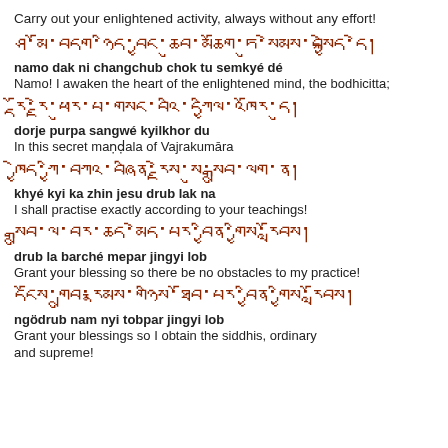Carry out your enlightened activity, always without any effort!
ཤ་མོ་བདག་ཉིད་བྱང་ཆུབ་མཆོག་ཏུ་སེམས་བསྐྱེད་དེ།
namo dak ni changchub chok tu semkyé dé
Namo! I awaken the heart of the enlightened mind, the bodhicitta;
རྡོ་རྗེ་ཕུར་པ་གསང་བའི་དཀྱིལ་འཁོར་དུ།
dorje purpa sangwé kyilkhor du
In this secret maṇḍala of Vajrakumāra
ཁྱེད་ཀྱི་བཀའ་བཞིན་རྗེས་སུ་སྒྲུབ་ལག་ན།
khyé kyi ka zhin jesu drub lak na
I shall practise exactly according to your teachings!
སྒྲུབ་ལ་བར་ཆད་མེད་པར་བྱིན་གྱིས་རློབས།
drub la barché mepar jingyi lob
Grant your blessing so there be no obstacles to my practice!
དངོས་གྲུབ་རྣམས་གཉིས་ཐོབ་པར་བྱིན་གྱིས་རློབས།
ngödrub nam nyi tobpar jingyi lob
Grant your blessings so I obtain the siddhis, ordinary and supreme!